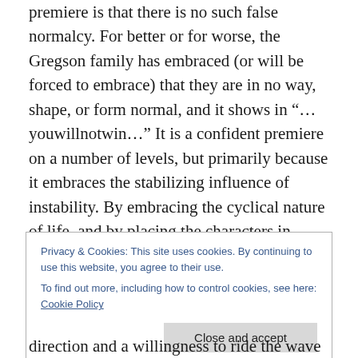premiere is that there is no such false normalcy. For better or for worse, the Gregson family has embraced (or will be forced to embrace) that they are in no way, shape, or form normal, and it shows in “…youwillnotwin…” It is a confident premiere on a number of levels, but primarily because it embraces the stabilizing influence of instability. By embracing the cyclical nature of life, and by placing the characters in positions to be impacted – but not defined by – those cycles, United States of Tara is in a position to continue to evolve without having to introduce dramatic new elements into the equation.
Privacy & Cookies: This site uses cookies. By continuing to use this website, you agree to their use.
To find out more, including how to control cookies, see here: Cookie Policy
direction and a willingness to ride the wave